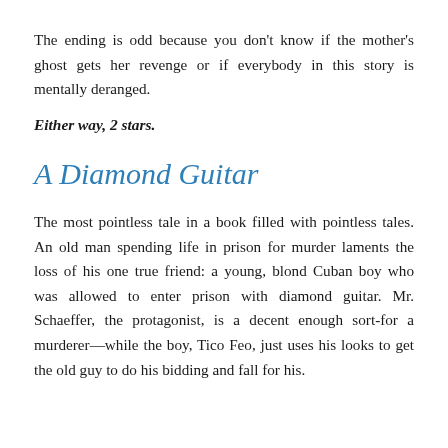The ending is odd because you don't know if the mother's ghost gets her revenge or if everybody in this story is mentally deranged.
Either way, 2 stars.
A Diamond Guitar
The most pointless tale in a book filled with pointless tales. An old man spending life in prison for murder laments the loss of his one true friend: a young, blond Cuban boy who was allowed to enter prison with diamond guitar. Mr. Schaeffer, the protagonist, is a decent enough sort-for a murderer—while the boy, Tico Feo, just uses his looks to get the old guy to do his bidding and fall for his. To get that the didn't workin their believes, this lets